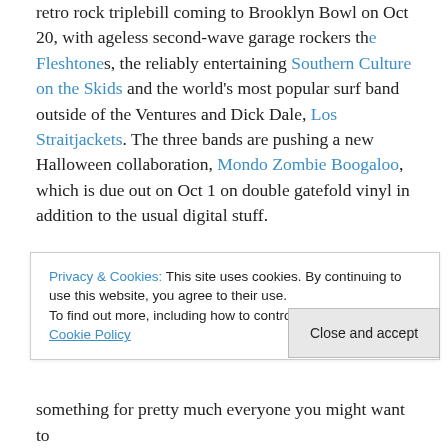retro rock triplebill coming to Brooklyn Bowl on Oct 20, with ageless second-wave garage rockers the Fleshtones, the reliably entertaining Southern Culture on the Skids and the world's most popular surf band outside of the Ventures and Dick Dale, Los Straitjackets. The three bands are pushing a new Halloween collaboration, Mondo Zombie Boogaloo, which is due out on Oct 1 on double gatefold vinyl in addition to the usual digital stuff.
It's everything you would hope for from these three bands. Los Straitjackets get the creepy side of surf – they don't get all cartoonish and cliched and ruin it. The Fleshtones something for pretty much everyone you might want to
Privacy & Cookies: This site uses cookies. By continuing to use this website, you agree to their use.
To find out more, including how to control cookies, see here: Cookie Policy
Close and accept